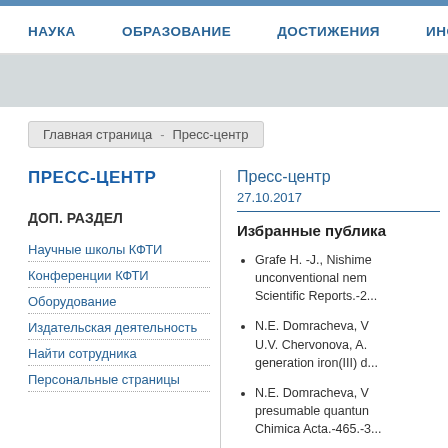НАУКА   ОБРАЗОВАНИЕ   ДОСТИЖЕНИЯ   ИНСТИТУТ
Главная страница - Пресс-центр
ПРЕСС-ЦЕНТР
ДОП. РАЗДЕЛ
Научные школы КФТИ
Конференции КФТИ
Оборудование
Издательская деятельность
Найти сотрудника
Персональные страницы
Пресс-центр
27.10.2017
Избранные публика...
Grafe H. -J., Nishime... unconventional nem... Scientific Reports.-2...
N.E. Domracheva, V... U.V. Chervonova, A... generation iron(III) d...
N.E. Domracheva, V... presumable quantum... Chimica Acta.-465.-3...